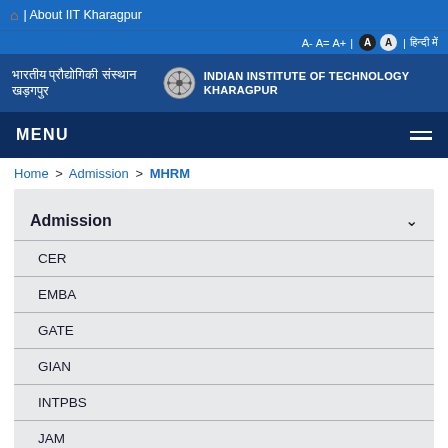🏠 | About IIT Kharagpur
A- A= A+ | A A | हिन्दी में
भारतीय प्रौद्योगिकी संस्थान खड़गपुर | INDIAN INSTITUTE OF TECHNOLOGY KHARAGPUR
MENU
Home > Admission > MHRM
Admission
CER
EMBA
GATE
GIAN
INTPBS
JAM